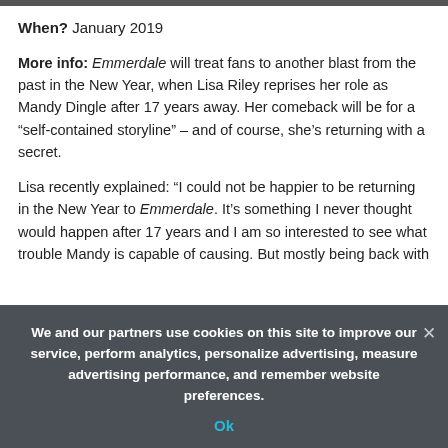[Figure (photo): Partial image strip at top of page showing people]
When? January 2019
More info: Emmerdale will treat fans to another blast from the past in the New Year, when Lisa Riley reprises her role as Mandy Dingle after 17 years away. Her comeback will be for a “self-contained storyline” – and of course, she’s returning with a secret.
Lisa recently explained: “I could not be happier to be returning in the New Year to Emmerdale. It’s something I never thought would happen after 17 years and I am so interested to see what trouble Mandy is capable of causing. But mostly being back with
We and our partners use cookies on this site to improve our service, perform analytics, personalize advertising, measure advertising performance, and remember website preferences.
Ok